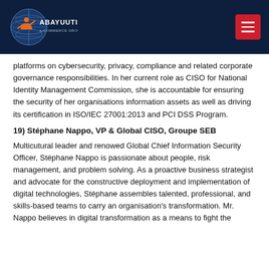[Figure (logo): Abayuuti e-Commerce Group logo with globe and figure icon on dark navy background]
platforms on cybersecurity, privacy, compliance and related corporate governance responsibilities. In her current role as CISO for National Identity Management Commission, she is accountable for ensuring the security of her organisations information assets as well as driving its certification in ISO/IEC 27001:2013 and PCI DSS Program.
19) Stéphane Nappo, VP & Global CISO, Groupe SEB
Multicutural leader and renowed Global Chief Information Security Officer, Stéphane Nappo is passionate about people, risk management, and problem solving. As a proactive business strategist and advocate for the constructive deployment and implementation of digital technologies, Stéphane assembles talented, professional, and skills-based teams to carry an organisation's transformation. Mr. Nappo believes in digital transformation as a means to fight the